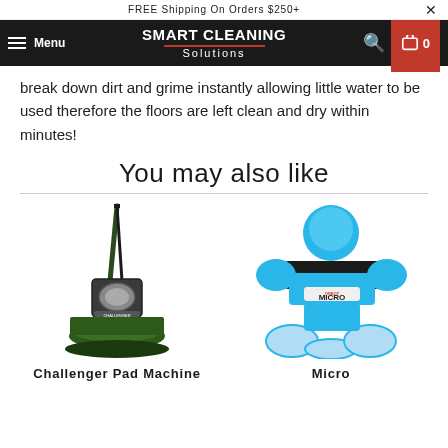FREE Shipping On Orders $250+
SMART CLEANING Solutions — Menu — 0
break down dirt and grime instantly allowing little water to be used therefore the floors are left clean and dry within minutes!
You may also like
[Figure (photo): Challenger Pad Machine - a dark green commercial floor scrubbing machine with a long handle and circular pad base]
[Figure (photo): Micro - an Orbot Micro orbital floor scrubber in bright blue with three circular pads on the bottom]
Challenger Pad Machine
Micro